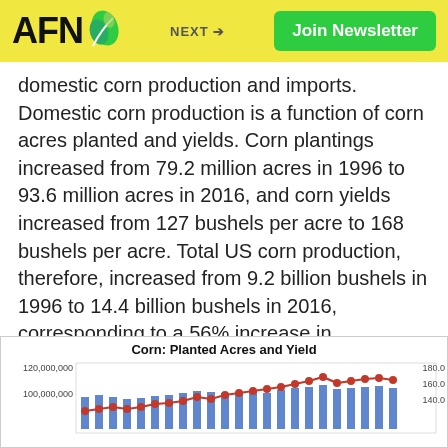AFN | NEXT → | Join Newsletter
domestic corn production and imports. Domestic corn production is a function of corn acres planted and yields. Corn plantings increased from 79.2 million acres in 1996 to 93.6 million acres in 2016, and corn yields increased from 127 bushels per acre to 168 bushels per acre. Total US corn production, therefore, increased from 9.2 billion bushels in 1996 to 14.4 billion bushels in 2016, corresponding to a 56% increase in production over this 20-year period. [10] Imports have remained a relatively small part (less than 1%) of US corn supply. [11]
[Figure (line-chart): Dual-axis chart showing corn planted acres (bar/line, left axis up to 120,000,000) and yield per acre (line, right axis up to 180.0). Left axis labels: 120,000,000 and 100,000,000. Right axis labels: 180.0, 160.0, 140.0.]